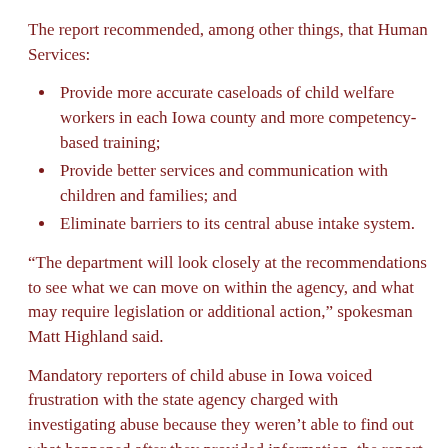The report recommended, among other things, that Human Services:
Provide more accurate caseloads of child welfare workers in each Iowa county and more competency-based training;
Provide better services and communication with children and families; and
Eliminate barriers to its central abuse intake system.
“The department will look closely at the recommendations to see what we can move on within the agency, and what may require legislation or additional action,” spokesman Matt Highland said.
Mandatory reporters of child abuse in Iowa voiced frustration with the state agency charged with investigating abuse because they weren’t able to find out what happened after they provided information, the report found.